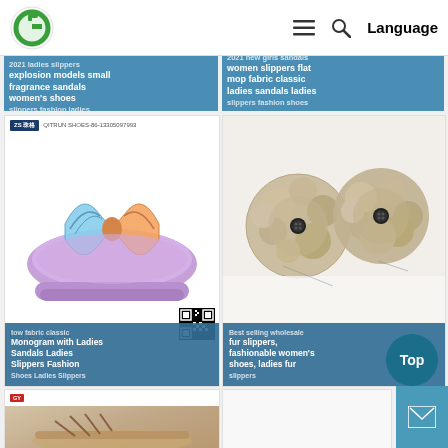[Figure (screenshot): E-commerce website header with logo, hamburger menu, search icon, and Language link]
[Figure (screenshot): Product card (partially visible): 2021 ladies slippers explosion models small fragrance sandals women's shoes slippers fashion ladies]
[Figure (screenshot): Product card (partially visible): 2021 new girls sandals women slippers flat mop fabric classic ladies sandals ladies slippers fashion shoes]
[Figure (photo): Purple/lavender slide slipper with colorful bow on top, product watermark bar with QR code and certifications]
tow fabric classic
Monogram with Ladies Sandals Ladies Slippers Fashion Shoes Ladies Slippers
[Figure (photo): Fluffy fur pom-pom slippers in beige/brown with dark buttons, wholesale fur slippers product]
Best selling wholesale fur slippers, fashionable women's shoes, ladies fur slippers
[Figure (photo): Partial view of sandal product at bottom left]
[Figure (screenshot): Blank bottom right product card]
[Figure (infographic): Top button (circular dark teal) and Mail button (light blue square) overlaid on bottom right]